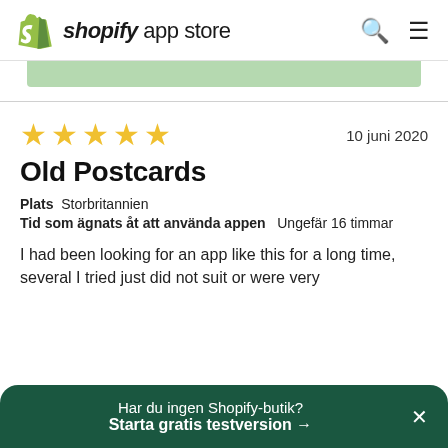shopify app store
[Figure (other): Green partial banner/bar visible at top of content area]
10 juni 2020
Old Postcards
Plats  Storbritannien
Tid som ägnats åt att använda appen  Ungefär 16 timmar
I had been looking for an app like this for a long time, several I tried just did not suit or were very
Har du ingen Shopify-butik? Starta gratis testversion →